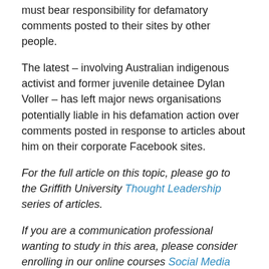must bear responsibility for defamatory comments posted to their sites by other people.
The latest – involving Australian indigenous activist and former juvenile detainee Dylan Voller – has left major news organisations potentially liable in his defamation action over comments posted in response to articles about him on their corporate Facebook sites.
For the full article on this topic, please go to the Griffith University Thought Leadership series of articles.
If you are a communication professional wanting to study in this area, please consider enrolling in our online courses Social Media Law and Risk Management (postgraduate) or Media Law (undergraduate).
Disclaimer: While I write about media law and ethics, nothing here should be construed as legal advice.